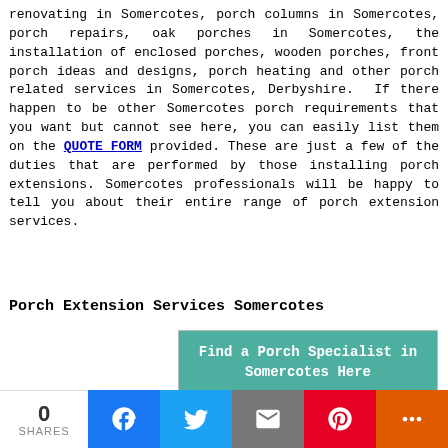renovating in Somercotes, porch columns in Somercotes, porch repairs, oak porches in Somercotes, the installation of enclosed porches, wooden porches, front porch ideas and designs, porch heating and other porch related services in Somercotes, Derbyshire. If there happen to be other Somercotes porch requirements that you want but cannot see here, you can easily list them on the QUOTE FORM provided. These are just a few of the duties that are performed by those installing porch extensions. Somercotes professionals will be happy to tell you about their entire range of porch extension services.
Porch Extension Services Somercotes
[Figure (screenshot): Widget box with teal header 'Find a Porch Specialist in Somercotes Here', a dropdown showing '- Porch Construction -', and a label 'Where do you need it?']
By using this website you are agreeing
0 SHARES | Facebook | Twitter | Email | Pinterest | More